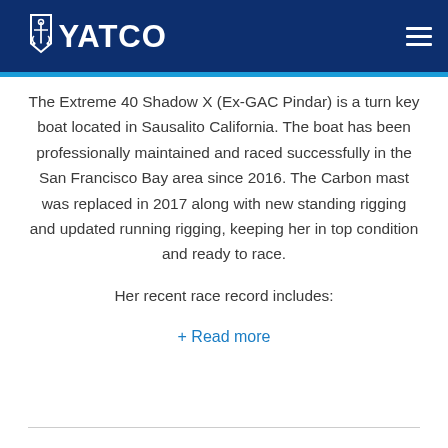YATCO
The Extreme 40 Shadow X (Ex-GAC Pindar) is a turn key boat located in Sausalito California. The boat has been professionally maintained and raced successfully in the San Francisco Bay area since 2016. The Carbon mast was replaced in 2017 along with new standing rigging and updated running rigging, keeping her in top condition and ready to race.
Her recent race record includes:
+ Read more